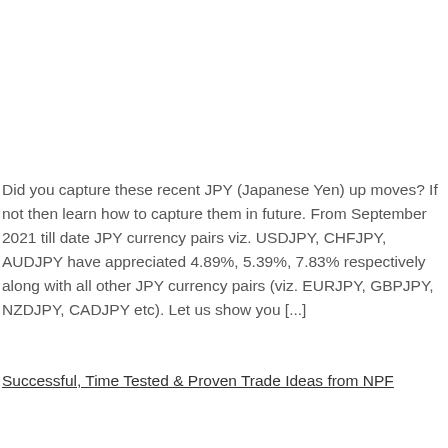Did you capture these recent JPY (Japanese Yen) up moves? If not then learn how to capture them in future. From September 2021 till date JPY currency pairs viz. USDJPY, CHFJPY, AUDJPY have appreciated 4.89%, 5.39%, 7.83% respectively along with all other JPY currency pairs (viz. EURJPY, GBPJPY, NZDJPY, CADJPY etc). Let us show you [...]
Successful, Time Tested & Proven Trade Ideas from NPF